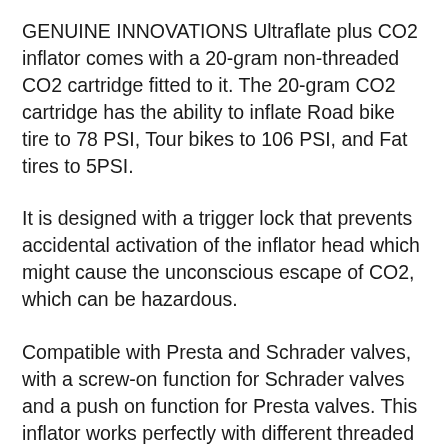GENUINE INNOVATIONS Ultraflate plus CO2 inflator comes with a 20-gram non-threaded CO2 cartridge fitted to it. The 20-gram CO2 cartridge has the ability to inflate Road bike tire to 78 PSI, Tour bikes to 106 PSI, and Fat tires to 5PSI.
It is designed with a trigger lock that prevents accidental activation of the inflator head which might cause the unconscious escape of CO2, which can be hazardous.
Compatible with Presta and Schrader valves, with a screw-on function for Schrader valves and a push on function for Presta valves. This inflator works perfectly with different threaded cartridges but with exceptions to 20g cartridges as they are not threaded